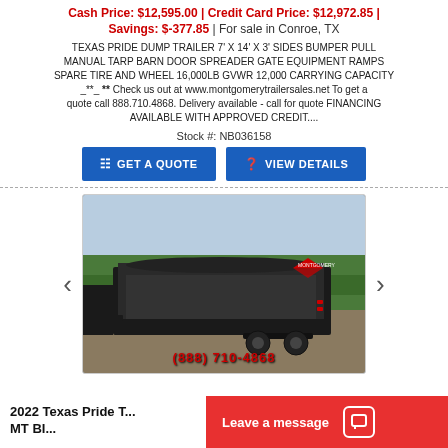Cash Price: $12,595.00 | Credit Card Price: $12,972.85 | Savings: $-377.85 | For sale in Conroe, TX
TEXAS PRIDE DUMP TRAILER 7' X 14' X 3' SIDES BUMPER PULL MANUAL TARP BARN DOOR SPREADER GATE EQUIPMENT RAMPS SPARE TIRE AND WHEEL 16,000LB GVWR 12,000 CARRYING CAPACITY _**_ ** Check us out at www.montgomerytrailersales.net To get a quote call 888.710.4868. Delivery available - call for quote FINANCING AVAILABLE WITH APPROVED CREDIT....
Stock #: NB036158
GET A QUOTE
VIEW DETAILS
[Figure (photo): Black Texas Pride dump trailer photographed outdoors, shown from the side and rear, with dual axles and enclosed dump bed. Phone number (888) 710-4868 overlaid in red text at bottom.]
2022 Texas Pride T... MT BI...
Leave a message